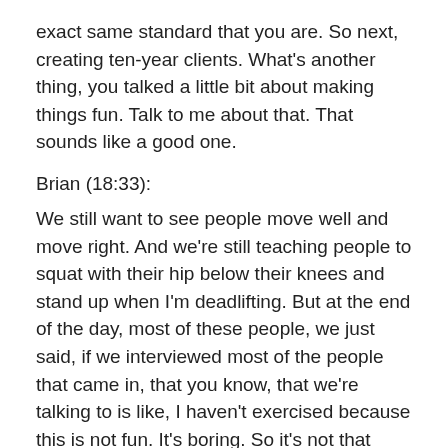exact same standard that you are. So next, creating ten-year clients. What's another thing, you talked a little bit about making things fun. Talk to me about that. That sounds like a good one.
Brian (18:33):
We still want to see people move well and move right. And we're still teaching people to squat with their hip below their knees and stand up when I'm deadlifting. But at the end of the day, most of these people, we just said, if we interviewed most of the people that came in, that you know, that we're talking to is like, I haven't exercised because this is not fun. It's boring. So it's not that we're always playing games. But we're smiling, we're laughing. We're not taking ourselves too seriously if we miss a lift or something like that. And there's still,